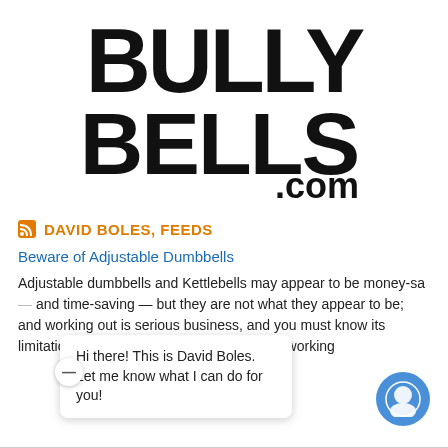[Figure (logo): BullyBells.com logo with large distressed black bold text showing BULLY on top and BELLS below, followed by .com in smaller bold text]
DAVID BOLES, FEEDS
Beware of Adjustable Dumbbells
Adjustable dumbbells and Kettlebells may appear to be money-saving and time-saving — but they are not what they appear to be; and working out is serious business, and you must know its limitations and...working
Hi there! This is David Boles. Let me know what I can do for you!